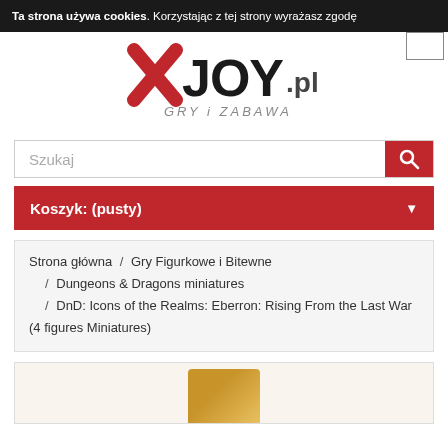Ta strona używa cookies. Korzystając z tej strony wyrażasz zgodę
[Figure (logo): XJOY.pl - GRY i ZABAWA logo with red X and black JOY.pl text]
Szukaj
Koszyk: (pusty)
Strona główna / Gry Figurkowe i Bitewne / Dungeons & Dragons miniatures / DnD: Icons of the Realms: Eberron: Rising From the Last War (4 figures Miniatures)
[Figure (photo): Product image partially visible - golden/yellow colored miniature box bottom]